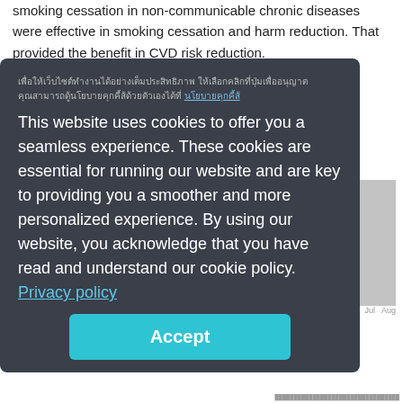smoking cessation in non-communicable chronic diseases were effective in smoking cessation and harm reduction. That provided the benefit in CVD risk reduction.
[Figure (other): Cookie consent overlay dialog on a dark background. Contains Thai script text, cookie policy notice in English, a Privacy policy link, and an Accept button. Partially obscures background page content including a bar chart, axis labels (Mar, Jul, Aug), an 'Issue' label, and journal volume information (Vol. 11 No. 4, 2015, October - December 2015).]